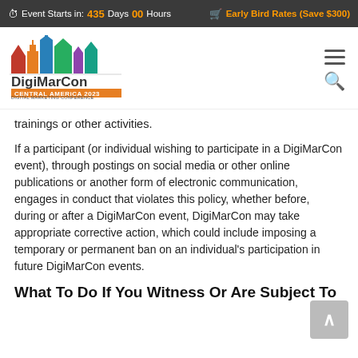Event Starts in: 435 Days 00 Hours | Early Bird Rates (Save $300)
[Figure (logo): DigiMarCon Central America 2023 Digital Marketing Conference logo with colorful cityscape silhouette]
trainings or other activities.
If a participant (or individual wishing to participate in a DigiMarCon event), through postings on social media or other online publications or another form of electronic communication, engages in conduct that violates this policy, whether before, during or after a DigiMarCon event, DigiMarCon may take appropriate corrective action, which could include imposing a temporary or permanent ban on an individual's participation in future DigiMarCon events.
What To Do If You Witness Or Are Subject To